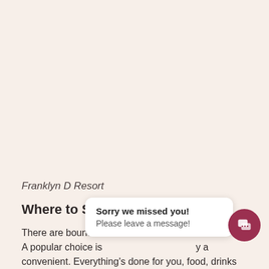Franklyn D Resort
Where to Sleep
There are boundles... you A popular choice is ... y and convenient. Everything's done for you, food, drinks...